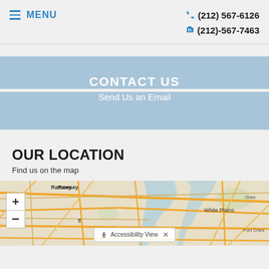≡ MENU   (212) 567-6126   (212)-567-7463
CONTACT US
Send Us an Email
OUR LOCATION
Find us on the map
[Figure (map): Interactive street map showing New York metro area including Ramsey, White Plains, Port Chester, Greenwhich areas with road overlays. Includes zoom +/- controls and Accessibility View button.]